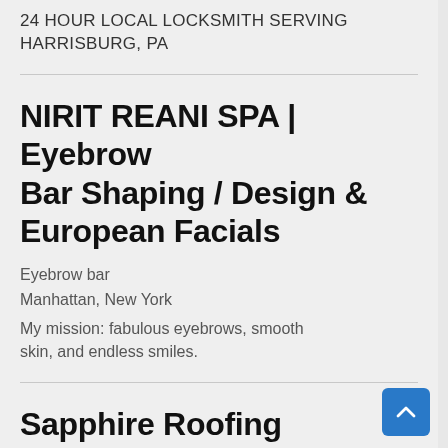24 HOUR LOCAL LOCKSMITH SERVING HARRISBURG, PA
NIRIT REANI SPA | Eyebrow Bar Shaping / Design & European Facials
Eyebrow bar
Manhattan, New York
My mission: fabulous eyebrows, smooth skin, and endless smiles.
Sapphire Roofing Richmond Hill